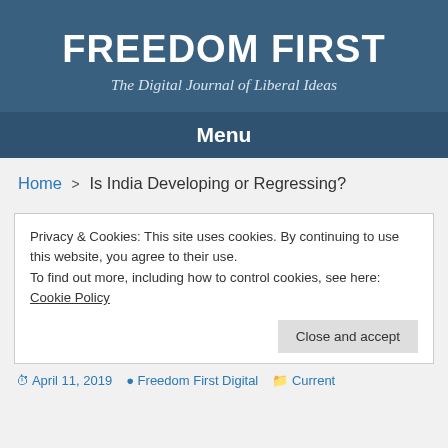FREEDOM FIRST
The Digital Journal of Liberal Ideas
Menu
Home > Is India Developing or Regressing?
Privacy & Cookies: This site uses cookies. By continuing to use this website, you agree to their use.
To find out more, including how to control cookies, see here: Cookie Policy
Close and accept
April 11, 2019  Freedom First Digital  Current